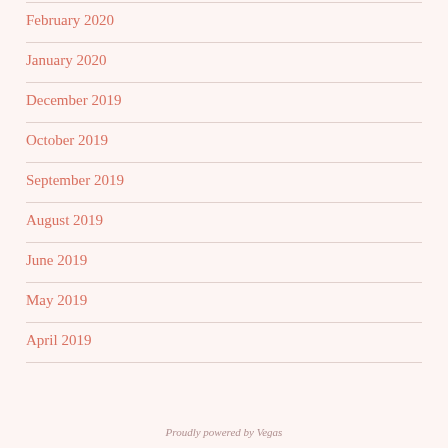February 2020
January 2020
December 2019
October 2019
September 2019
August 2019
June 2019
May 2019
April 2019
Proudly powered by Vegas